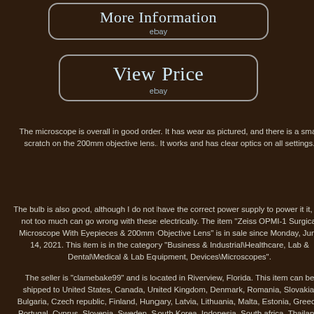[Figure (other): Button with rounded rectangle border reading 'More Information' and 'ebay' below in smaller text]
[Figure (other): Button with rounded rectangle border reading 'View Price' and 'ebay' below in smaller text]
The microscope is overall in good order. It has wear as pictured, and there is a small scratch on the 200mm objective lens. It works and has clear optics on all settings.
The bulb is also good, although I do not have the correct power supply to power it it, but not too much can go wrong with these electrically. The item "Zeiss OPMI-1 Surgical Microscope With Eyepieces & 200mm Objective Lens" is in sale since Monday, June 14, 2021. This item is in the category "Business & Industrial\Healthcare, Lab & Dental\Medical & Lab Equipment, Devices\Microscopes".
The seller is "clamebake99" and is located in Riverview, Florida. This item can be shipped to United States, Canada, United Kingdom, Denmark, Romania, Slovakia, Bulgaria, Czech republic, Finland, Hungary, Latvia, Lithuania, Malta, Estonia, Greece, Portugal, Cyprus, Slovenia, Sweden, South Korea, Indonesia, South africa, Thailand, Belgium, France, Hong Kong, Ireland,